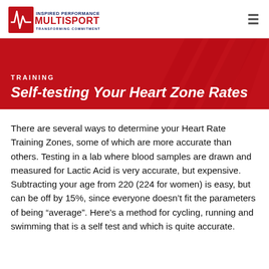[Figure (logo): Inspired Performance Multisport logo with red lightning bolt and blue/red text: INSPIRED PERFORMANCE MULTISPORT, TRANSFORMING COMMITMENT TO RESULTS]
TRAINING
Self-testing Your Heart Zone Rates
There are several ways to determine your Heart Rate Training Zones, some of which are more accurate than others. Testing in a lab where blood samples are drawn and measured for Lactic Acid is very accurate, but expensive. Subtracting your age from 220 (224 for women) is easy, but can be off by 15%, since everyone doesn’t fit the parameters of being “average”. Here’s a method for cycling, running and swimming that is a self test and which is quite accurate.